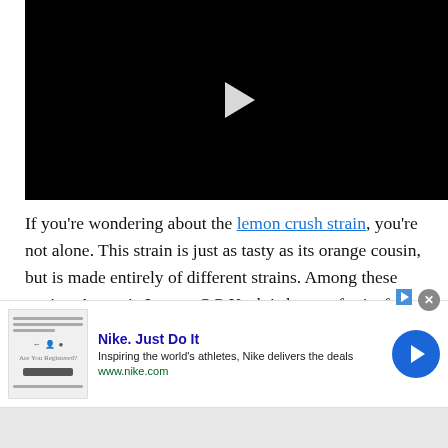[Figure (screenshot): Black video player with white play button triangle in center]
If you're wondering about the lemon crush strain, you're not alone. This strain is just as tasty as its orange cousin, but is made entirely of different strains. Among these strains, Amnesia Lemon OG Kush is known for its fruity aroma and flavor. If you're curious about the Amnesia
[Figure (screenshot): Nike advertisement banner: 'Nike. Just Do It' with tagline 'Inspiring the world's athletes, Nike delivers the deals' and url www.nike.com, with blue arrow button and close X button]